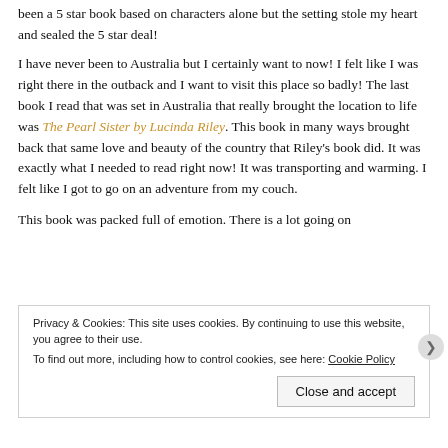been a 5 star book based on characters alone but the setting stole my heart and sealed the 5 star deal!
I have never been to Australia but I certainly want to now! I felt like I was right there in the outback and I want to visit this place so badly! The last book I read that was set in Australia that really brought the location to life was The Pearl Sister by Lucinda Riley. This book in many ways brought back that same love and beauty of the country that Riley's book did. It was exactly what I needed to read right now! It was transporting and warming. I felt like I got to go on an adventure from my couch.
This book was packed full of emotion. There is a lot going on
Privacy & Cookies: This site uses cookies. By continuing to use this website, you agree to their use.
To find out more, including how to control cookies, see here: Cookie Policy
Close and accept